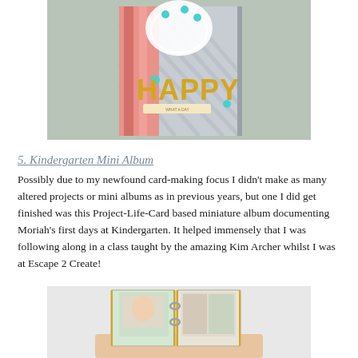[Figure (photo): A handmade greeting card with gold letters spelling HAPPY, decorated with a white floral embellishment, turquoise sequins, and pink striped paper, standing upright on a green surface.]
5. Kindergarten Mini Album
Possibly due to my newfound card-making focus I didn't make as many altered projects or mini albums as in previous years, but one I did get finished was this Project-Life-Card based miniature album documenting Moriah's first days at Kindergarten. It helped immensely that I was following along in a class taught by the amazing Kim Archer whilst I was at Escape 2 Create!
[Figure (photo): A mini album with transparent/plastic pages held together by rings, showing photos of a young child, with decorative patterned paper and gold trim edges, held in someone's hand.]